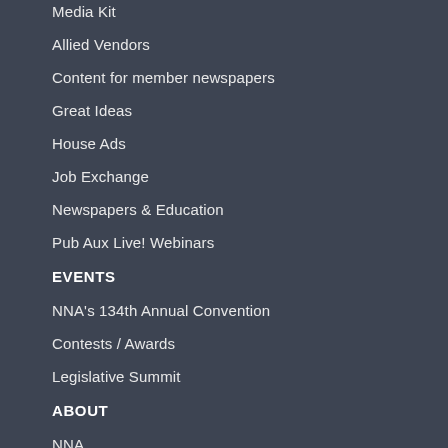Media Kit
Allied Vendors
Content for member newspapers
Great Ideas
House Ads
Job Exchange
Newspapers & Education
Pub Aux Live! Webinars
EVENTS
NNA's 134th Annual Convention
Contests / Awards
Legislative Summit
ABOUT
NNA
NNA Foundation
CONTACT